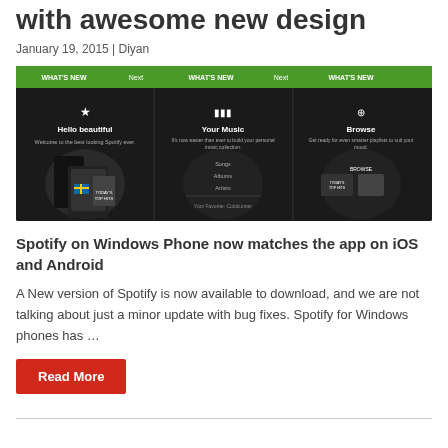with awesome new design
January 19, 2015 | Diyan
[Figure (screenshot): Spotify Windows Phone app screenshot showing What's New, Your Music, and Browse sections with dark background and green navigation bar]
Spotify on Windows Phone now matches the app on iOS and Android
A New version of Spotify is now available to download, and we are not talking about just a minor update with bug fixes. Spotify for Windows phones has …
Read More